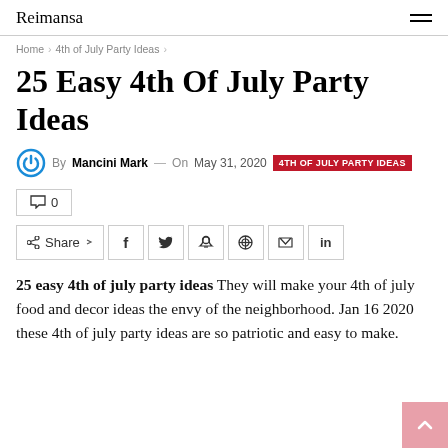Reimansa
Home > 4th of July Party Ideas >
25 Easy 4th Of July Party Ideas
By Mancini Mark — On May 31, 2020 4TH OF JULY PARTY IDEAS
💬 0
Share  f  🐦  🔴  📱  📌  ✉  in
25 easy 4th of july party ideas They will make your 4th of july food and decor ideas the envy of the neighborhood. Jan 16 2020 these 4th of july party ideas are so patriotic and easy to make.